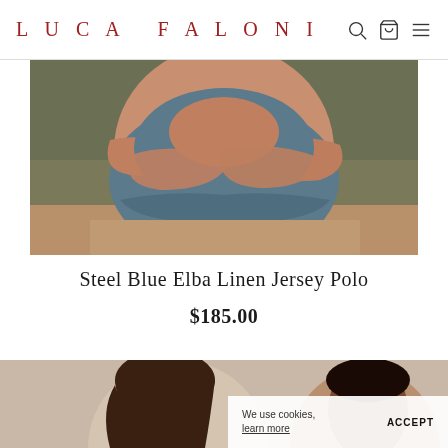LUCA FALONI
[Figure (photo): Man with arms crossed wearing a steel blue polo shirt, seated outdoors with blurred grass background]
Steel Blue Elba Linen Jersey Polo
$185.00
[Figure (photo): Two men in a warm-toned background, heads visible, partially cropped at bottom of page]
We use cookies, learn more
ACCEPT